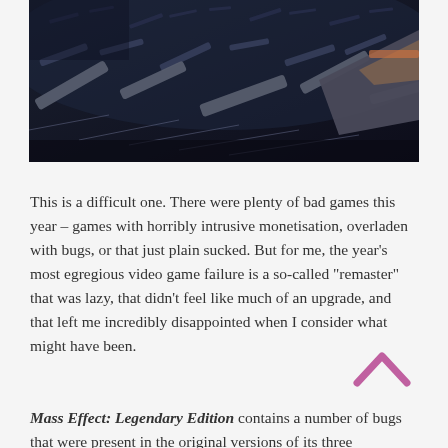[Figure (photo): Dark cinematic screenshot showing a massive fleet of spacecraft flying in chaotic formation, sci-fi setting with ships streaking across the frame, likely from Mass Effect.]
This is a difficult one. There were plenty of bad games this year – games with horribly intrusive monetisation, overladen with bugs, or that just plain sucked. But for me, the year's most egregious video game failure is a so-called “remaster” that was lazy, that didn’t feel like much of an upgrade, and that left me incredibly disappointed when I consider what might have been.
Mass Effect: Legendary Edition contains a number of bugs that were present in the original versions of its three constituent games;